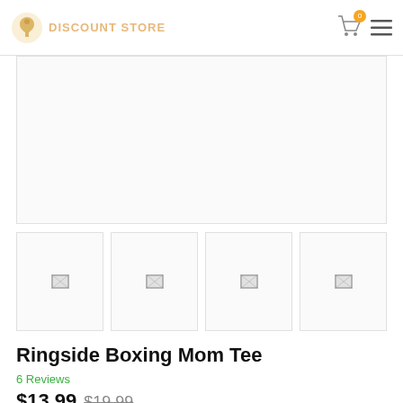DISCOUNT STORE
[Figure (photo): Main product image area (blank/loading)]
[Figure (photo): Product thumbnail 1 (broken image)]
[Figure (photo): Product thumbnail 2 (broken image)]
[Figure (photo): Product thumbnail 3 (broken image)]
[Figure (photo): Product thumbnail 4 (broken image)]
Ringside Boxing Mom Tee
6 Reviews
$13.99 $19.99
Ringside Boxing Mom Tee
Color : XXXL